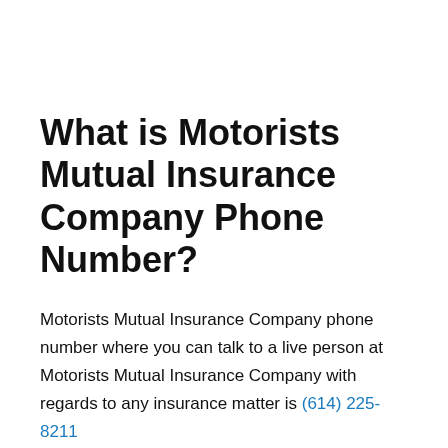What is Motorists Mutual Insurance Company Phone Number?
Motorists Mutual Insurance Company phone number where you can talk to a live person at Motorists Mutual Insurance Company with regards to any insurance matter is (614) 225-8211
What are NAICS Codes?